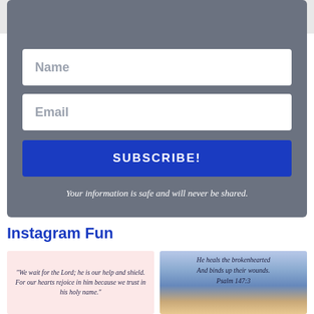[Figure (screenshot): Top gray strip partial image area]
[Figure (infographic): Subscribe form box with gray background, Name input field, Email input field, blue SUBSCRIBE! button, and privacy text]
Your information is safe and will never be shared.
Instagram Fun
[Figure (photo): Instagram post with pink background showing scripture quote: 'We wait for the Lord; he is our help and shield. For our hearts rejoice in him because we trust in his holy name.']
[Figure (photo): Instagram post with mountain landscape background showing scripture: 'He heals the brokenhearted And binds up their wounds. Psalm 147:3']